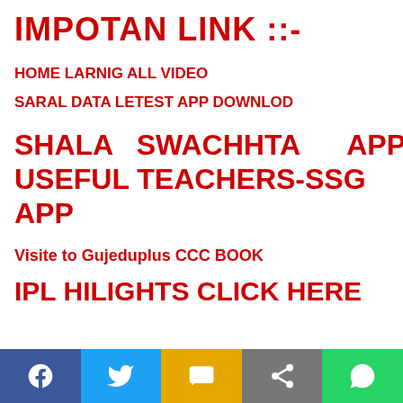IMPOTAN LINK ::-
HOME LARNIG ALL VIDEO
SARAL DATA LETEST APP DOWNLOD
SHALA SWACHHTA APP USEFUL TEACHERS-SSG APP
Visite to Gujeduplus CCC BOOK
IPL HILIGHTS CLICK HERE